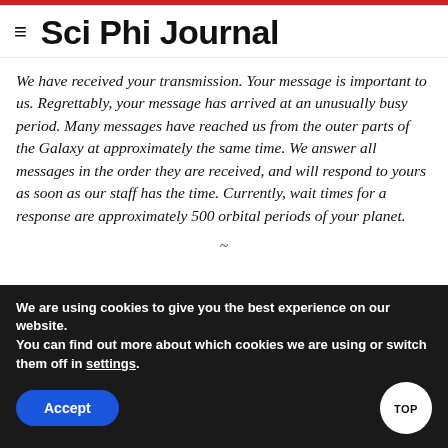Sci Phi Journal
We have received your transmission.  Your message is important to us.  Regrettably, your message has arrived at an unusually busy period.  Many messages have reached us from the outer parts of the Galaxy at approximately the same time.  We answer all messages in the order they are received, and will respond to yours as soon as our staff has the time.  Currently, wait times for a response are approximately 500 orbital periods of your planet.
~
We are using cookies to give you the best experience on our website.
You can find out more about which cookies we are using or switch them off in settings.